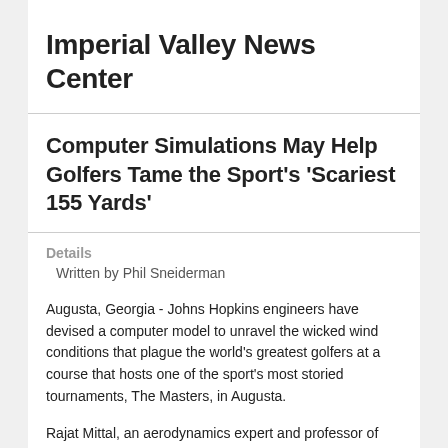Imperial Valley News Center
Computer Simulations May Help Golfers Tame the Sport's 'Scariest 155 Yards'
Details
Written by Phil Sneiderman
Augusta, Georgia - Johns Hopkins engineers have devised a computer model to unravel the wicked wind conditions that plague the world's greatest golfers at a course that hosts one of the sport's most storied tournaments, The Masters, in Augusta.
Rajat Mittal, an aerodynamics expert and professor of mechanical engineering in Johns Hopkins' Whiting School of Engineering, who also describes himself as a recreational golfer, developed this system with Neda Yaghoobian, a postdoctoral visiting scholar on his lab team. Yaghoobian earned her PhD in mechanical engineering at the University of